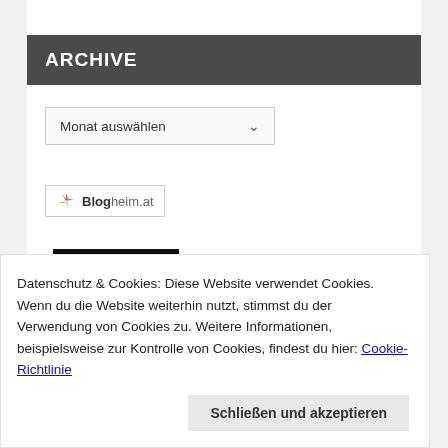ARCHIVE
Monat auswählen
[Figure (logo): Blogheim.at logo badge with colorful pinwheel icon]
+ BLOGLOVIN'
Datenschutz & Cookies: Diese Website verwendet Cookies. Wenn du die Website weiterhin nutzt, stimmst du der Verwendung von Cookies zu. Weitere Informationen, beispielsweise zur Kontrolle von Cookies, findest du hier: Cookie-Richtlinie
Schließen und akzeptieren